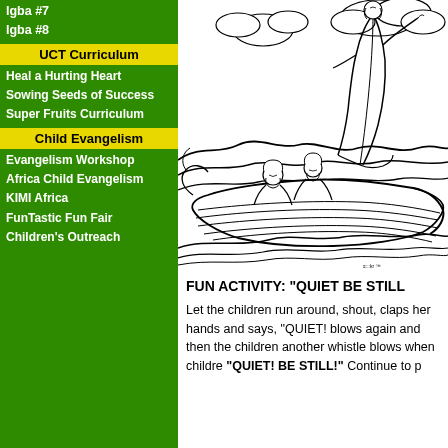Igba #7
Igba #8
UCT Curriculum
Heal a Hurting Heart
Sowing Seeds of Success
Super Fruits Curriculum
Child Evangelism
Evangelism Workshop
Africa Child Evangelism
KIMI Africa
FunTastic Fun Fair
Children's Outreach
[Figure (illustration): Black and white line drawing of Jesus standing on water/boat during a storm, with disciples in a boat, waves surrounding them. Jesus has his hand raised.]
FUN ACTIVITY: "QUIET BE STILL"
Let the children run around, shout, claps her hands and says, "QUIET! blows again and then the children another whistle blows when childre "QUIET! BE STILL!" Continue to p